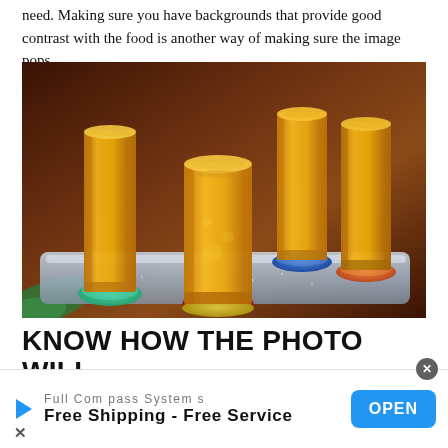need. Making sure you have backgrounds that provide good contrast with the food is another way of making sure the image pops.
[Figure (photo): Four shot glasses filled with yellow/orange mango smoothie, placed on a silver tray with colored bases (teal, yellow, red, orange), on a dark wooden table background.]
KNOW HOW THE PHOTO WILL
Full Compass Systems
Free Shipping - Free Service
OPEN